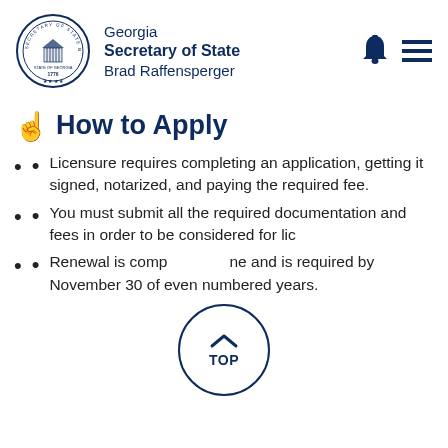Georgia Secretary of State Brad Raffensperger
How to Apply
Licensure requires completing an application, getting it signed, notarized, and paying the required fee.
You must submit all the required documentation and fees in order to be considered for lic...
Renewal is comp... ne and is required by November 30 of even numbered years.